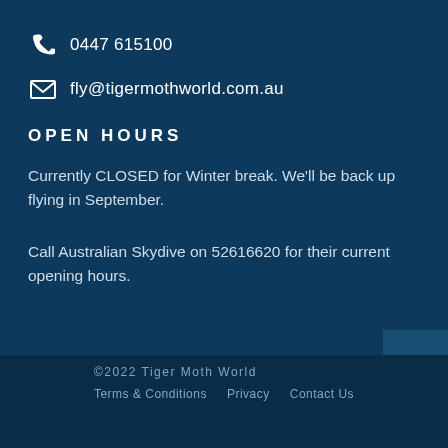0447 615100
fly@tigermothworld.com.au
OPEN HOURS
Currently CLOSED for Winter break. We'll be back up flying in September.
Call Australian Skydive on 52616620 for their current opening hours.
©2022 Tiger Moth World
Terms & Conditions
Privacy
Contact Us